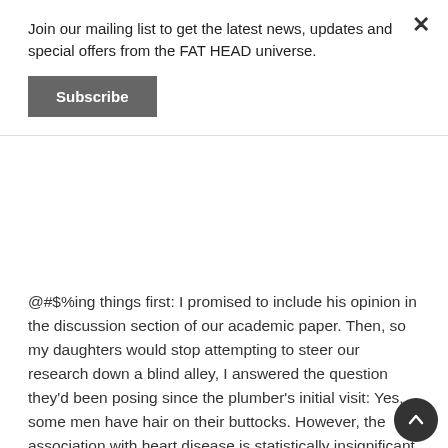Join our mailing list to get the latest news, updates and special offers from the FAT HEAD universe.
Subscribe
@#$%ing things first: I promised to include his opinion in the discussion section of our academic paper. Then, so my daughters would stop attempting to steer our research down a blind alley, I answered the question they'd been posing since the plumber's initial visit: Yes, some men have hair on their buttocks. However, the association with heart disease is statistically insignificant.
As the experiment progressed, we were stunned to realize that a month's worth of nearly all foods w... clog your arteries: hamburgers, chicken wings, pork